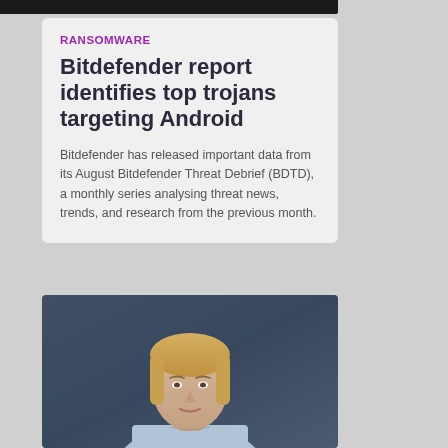[Figure (photo): Dark top image strip showing partial background image]
RANSOMWARE
Bitdefender report identifies top trojans targeting Android
Bitdefender has released important data from its August Bitdefender Threat Debrief (BDTD), a monthly series analysing threat news, trends, and research from the previous month.
[Figure (photo): Portrait photo of a blonde woman in a light blue blazer against a dark grey background]